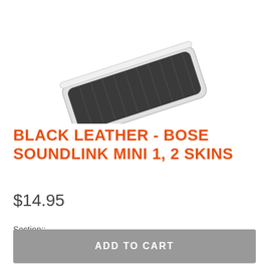MENU   CART
[Figure (photo): Product photo of a Bose SoundLink Mini speaker with a black leather skin, shown at an angle against a white background, partially cropped at the top of the page.]
BLACK LEATHER - BOSE SOUNDLINK MINI 1, 2 SKINS
$14.95
Section::
COMBO 1
ADD TO CART